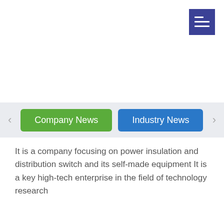[Figure (other): Navigation menu icon button — dark blue square with three horizontal white lines (hamburger/list menu icon), positioned top-right]
[Figure (other): Navigation bar with left arrow, green 'Company News' button, blue 'Industry News' button, and right arrow on a light grey background]
It is a company focusing on power insulation and distribution switch and its self-made equipment It is a key high-tech enterprise in the field of technology research